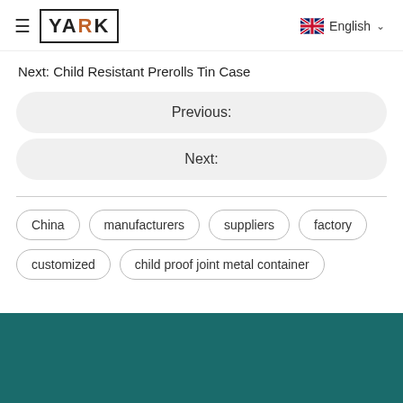YARK | English
Next: Child Resistant Prerolls Tin Case
Previous:
Next:
China
manufacturers
suppliers
factory
customized
child proof joint metal container